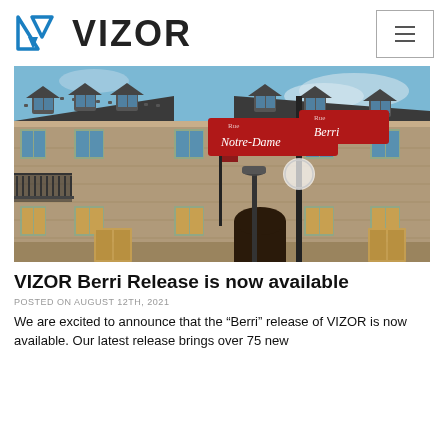VIZOR
[Figure (photo): Street-level photo of a historic stone building in Montreal at the corner of Rue Notre-Dame and Rue Berri, with a street sign pole in the foreground showing two red signs: 'Rue Notre-Dame' and 'Rue Berri'. The building has a mansard-style roof with dormers, ornate stone facade, a wrought-iron balcony, and warm yellow-framed windows. Blue sky with clouds in the background.]
VIZOR Berri Release is now available
POSTED ON AUGUST 12TH, 2021
We are excited to announce that the “Berri” release of VIZOR is now available. Our latest release brings over 75 new